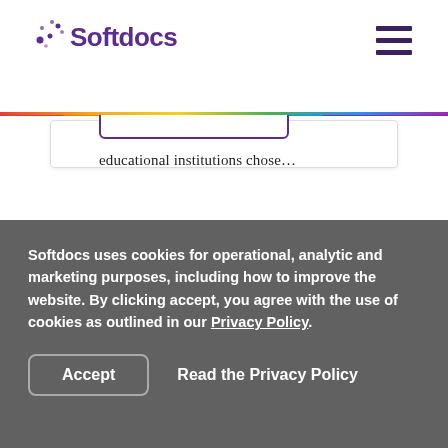Softdocs
educational institutions chose…
Read Post
Softdocs Customer Innovation Award
Softdocs uses cookies for operational, analytic and marketing purposes, including how to improve the website. By clicking accept, you agree with the use of cookies as outlined in our Privacy Policy.
Accept
Read the Privacy Policy